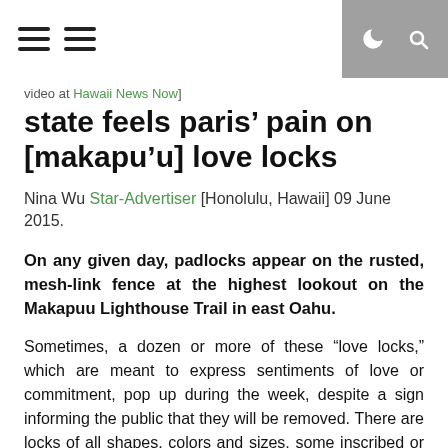video at Hawaii News Now]
state feels paris' pain on [makapu'u] love locks
Nina Wu Star-Advertiser [Honolulu, Hawaii] 09 June 2015.
On any given day, padlocks appear on the rusted, mesh-link fence at the highest lookout on the Makapuu Lighthouse Trail in east Oahu.
Sometimes, a dozen or more of these “love locks,” which are meant to express sentiments of love or commitment, pop up during the week, despite a sign informing the public that they will be removed. There are locks of all shapes, colors and sizes, some inscribed or marked with couple’s names and a date, others left blank.
They are part of a problem that stretches from Makapuu